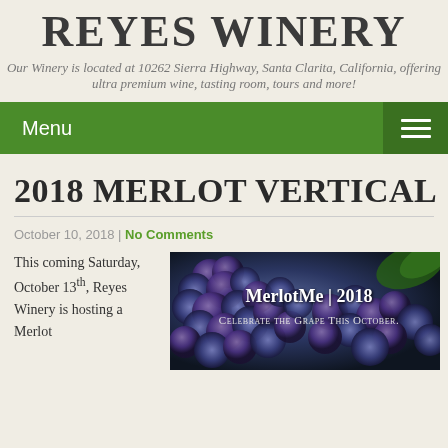REYES WINERY
Our Winery is located at 10262 Sierra Highway, Santa Clarita, California, offering ultra premium wine, tasting room, tours and more!
Menu
2018 MERLOT VERTICAL
October 10, 2018 | No Comments
This coming Saturday, October 13th, Reyes Winery is hosting a Merlot
[Figure (photo): Photo of dark purple/blue grape clusters with text overlay: MerlotMe | 2018 and Celebrate the Grape This October.]